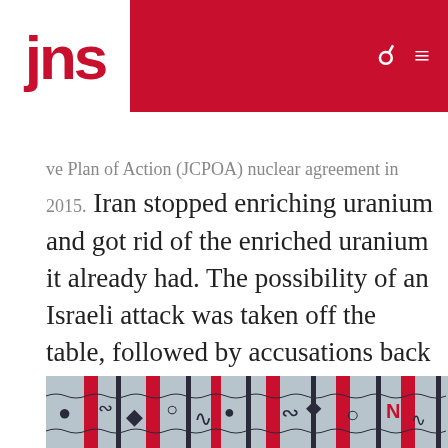jns
ve Plan of Action (JCPOA) nuclear agreement in 2015. Iran stopped enriching uranium and got rid of the enriched uranium it already had. The possibility of an Israeli attack was taken off the table, followed by accusations back and forth between the political leadership (Benjamin Netanyahu and Ehud Barak) and the military leadership (Gabi Ashkenazi and Meir Dagan) at the time about what the correct course of action had been, and who had torpedoed whom.
[Figure (photo): Decorative fabric or textile with red, white, and dark blue/black patterned design featuring scrollwork and geometric shapes]